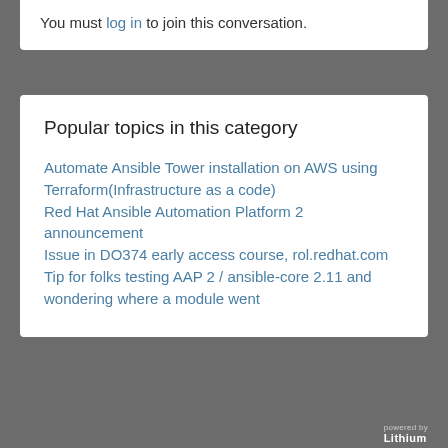You must log in to join this conversation.
Popular topics in this category
Automate Ansible Tower installation on AWS using Terraform(Infrastructure as a code)
Red Hat Ansible Automation Platform 2 announcement
Issue in DO374 early access course, rol.redhat.com
Tip for folks testing AAP 2 / ansible-core 2.11 and wondering where a module went
powered by Lithium